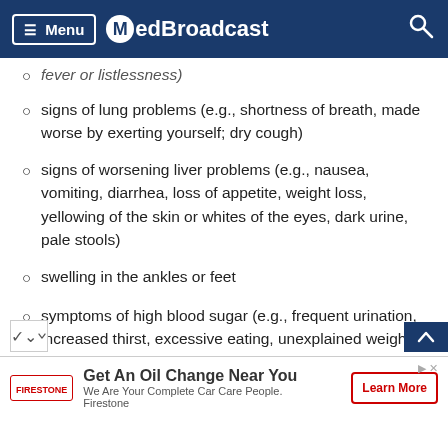Menu MedBroadcast
fever or listlessness)
signs of lung problems (e.g., shortness of breath, made worse by exerting yourself; dry cough)
signs of worsening liver problems (e.g., nausea, vomiting, diarrhea, loss of appetite, weight loss, yellowing of the skin or whites of the eyes, dark urine, pale stools)
swelling in the ankles or feet
symptoms of high blood sugar (e.g., frequent urination, increased thirst, excessive eating, unexplained weight loss, poor wound healing, actions, fruity breath odour)
Get An Oil Change Near You — We Are Your Complete Car Care People. Firestone — Learn More